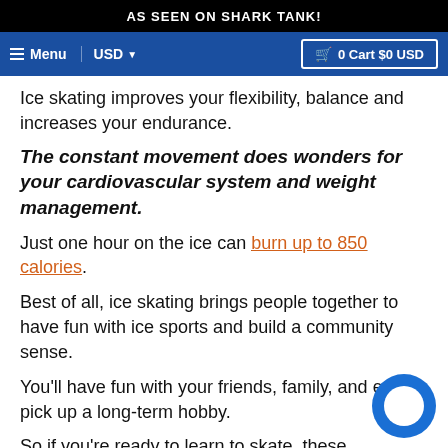AS SEEN ON SHARK TANK!
Menu   USD   0 Cart $0 USD
Ice skating improves your flexibility, balance and increases your endurance.
The constant movement does wonders for your cardiovascular system and weight management.
Just one hour on the ice can burn up to 850 calories.
Best of all, ice skating brings people together to have fun with ice sports and build a community sense.
You'll have fun with your friends, family, and even pick up a long-term hobby.
So if you're ready to learn to skate, these ten help bring you at ease.